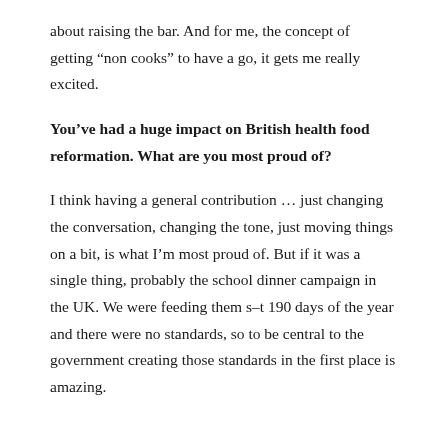about raising the bar. And for me, the concept of getting “non cooks” to have a go, it gets me really excited.
You’ve had a huge impact on British health food reformation. What are you most proud of?
I think having a general contribution … just changing the conversation, changing the tone, just moving things on a bit, is what I’m most proud of. But if it was a single thing, probably the school dinner campaign in the UK. We were feeding them s–t 190 days of the year and there were no standards, so to be central to the government creating those standards in the first place is amazing.